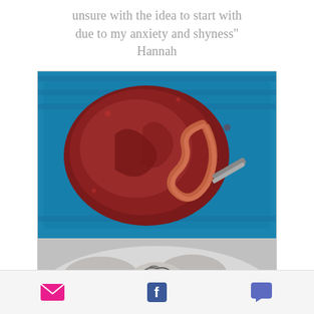unsure with the idea to start with due to my anxiety and shyness" Hannah
[Figure (photo): Top-down photograph of a human placenta in a blue plastic container with umbilical cord and medical clamp visible]
[Figure (photo): Black and white photograph of a newborn baby being held/swaddled, close-up view]
Social share icons: email, Facebook, comment/chat